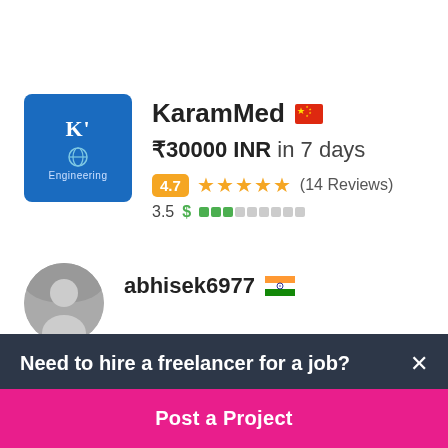[Figure (screenshot): Freelancer profile card for KaramMed with blue engineering logo avatar, Chinese flag, bid of ₹30000 INR in 7 days, rating 4.7 with 5 stars and 14 reviews, quality score 3.5]
KaramMed
₹30000 INR in 7 days
4.7 ★★★★★ (14 Reviews)
3.5 $ quality bar
abhisek6977
Need to hire a freelancer for a job?
Post a Project